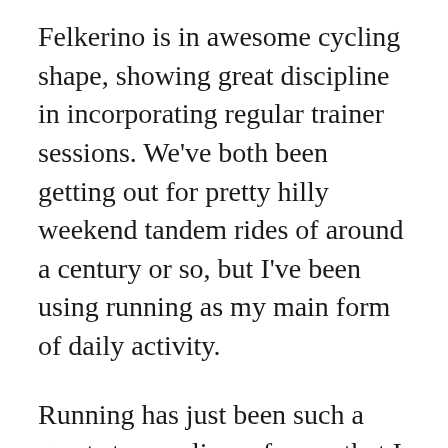Felkerino is in awesome cycling shape, showing great discipline in incorporating regular trainer sessions. We’ve both been getting out for pretty hilly weekend tandem rides of around a century or so, but I’ve been using running as my main form of daily activity.
Running has just been such a great stress reliever for me that I can’t stop doing it. Time on two feet has helped my overall conditioning, but I’m definitely riding Felkerino’s coattails when it comes to